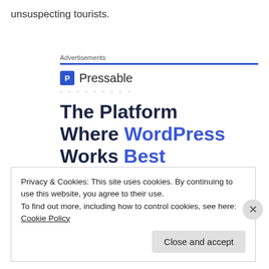unsuspecting tourists.
Advertisements
[Figure (logo): Pressable logo with blue shield P icon and text 'Pressable']
The Platform Where WordPress Works Best
Privacy & Cookies: This site uses cookies. By continuing to use this website, you agree to their use. To find out more, including how to control cookies, see here: Cookie Policy
Close and accept